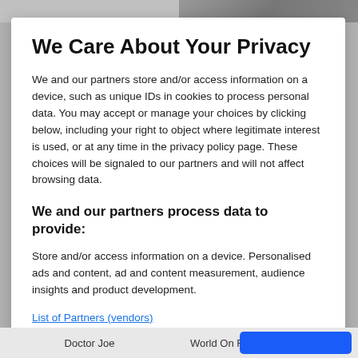We Care About Your Privacy
We and our partners store and/or access information on a device, such as unique IDs in cookies to process personal data. You may accept or manage your choices by clicking below, including your right to object where legitimate interest is used, or at any time in the privacy policy page. These choices will be signaled to our partners and will not affect browsing data.
We and our partners process data to provide:
Store and/or access information on a device. Personalised ads and content, ad and content measurement, audience insights and product development.
List of Partners (vendors)
Doctor Joe | World On Fire